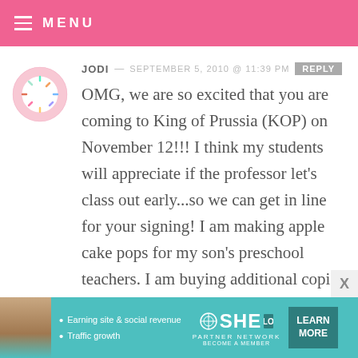MENU
JODI — SEPTEMBER 5, 2010 @ 11:39 PM  REPLY
OMG, we are so excited that you are coming to King of Prussia (KOP) on November 12!!! I think my students will appreciate if the professor let's class out early...so we can get in line for your signing! I am making apple cake pops for my son's preschool teachers. I am buying additional copies of your book for holiday gifts!!!
[Figure (infographic): SHE Partner Network advertisement banner with woman photo, bullets about earning site & social revenue and traffic growth, SHE logo, and Learn More button]